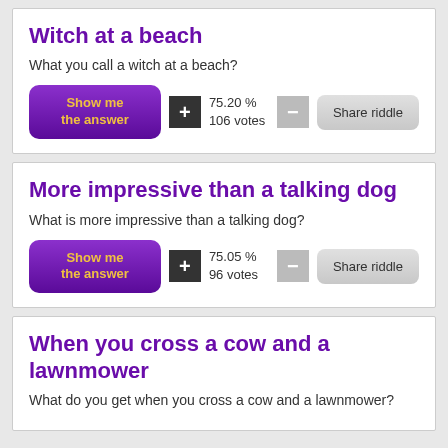Witch at a beach
What you call a witch at a beach?
More impressive than a talking dog
What is more impressive than a talking dog?
When you cross a cow and a lawnmower
What do you get when you cross a cow and a lawnmower?